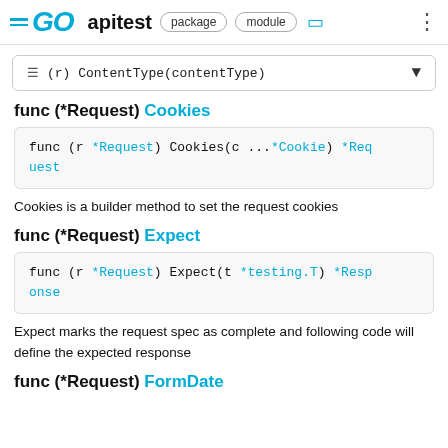GO apitest  package  module
≡ (r) ContentType(contentType)
func (*Request) Cookies
func (r *Request) Cookies(c ...*Cookie) *Request
Cookies is a builder method to set the request cookies
func (*Request) Expect
func (r *Request) Expect(t *testing.T) *Response
Expect marks the request spec as complete and following code will define the expected response
func (*Request) FormDate